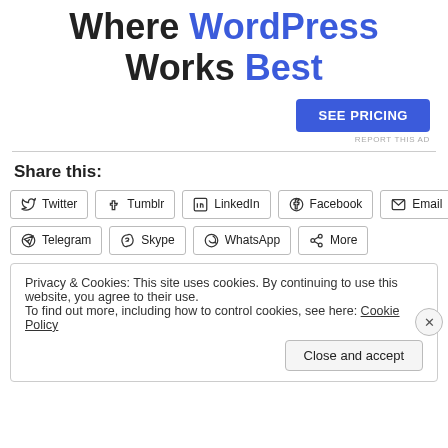Where WordPress Works Best
SEE PRICING
REPORT THIS AD
Share this:
Twitter  Tumblr  LinkedIn  Facebook  Email  Telegram  Skype  WhatsApp  More
Privacy & Cookies: This site uses cookies. By continuing to use this website, you agree to their use. To find out more, including how to control cookies, see here: Cookie Policy
Close and accept